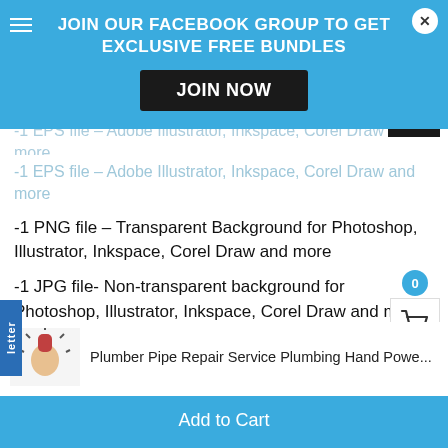[Figure (screenshot): Blue banner overlay with Facebook group join prompt, JOIN NOW button, and close X button]
-1 EPS file – Adobe Illustrator, Inkspace, Corel Draw and more
-1 PNG file – Transparent Background for Photoshop, Illustrator, Inkspace, Corel Draw and more
-1 JPG file- Non-transparent background for Photoshop, Illustrator, Inkspace, Corel Draw and more
Plumber Pipe Repair Service Plumbing Hand Powe...
Add to Cart